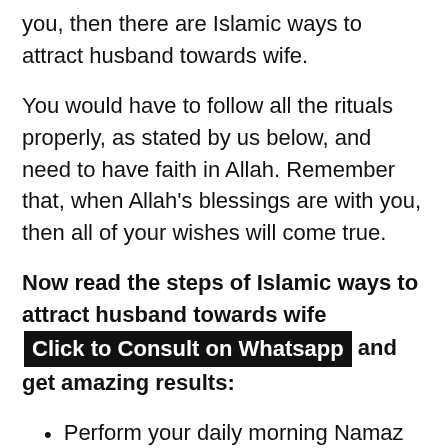you, then there are Islamic ways to attract husband towards wife.
You would have to follow all the rituals properly, as stated by us below, and need to have faith in Allah. Remember that, when Allah's blessings are with you, then all of your wishes will come true.
Now read the steps of Islamic ways to attract husband towards wife [Click to Consult on Whatsapp] and get amazing results:
Perform your daily morning Namaz at first and then go to the north-east corner of your home
Take a handful of rice and place it in cold water
Then recite Durood Shareef for 11 times